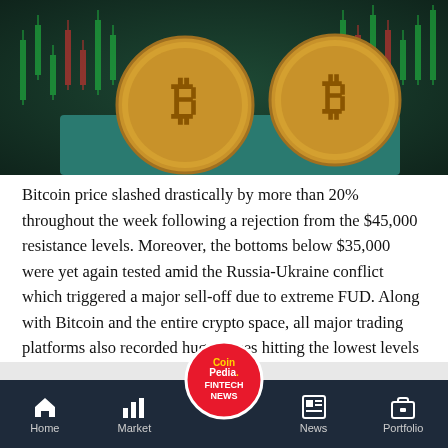[Figure (photo): Two gold Bitcoin coins in front of a green candlestick trading chart background]
Bitcoin price slashed drastically by more than 20% throughout the week following a rejection from the $45,000 resistance levels. Moreover, the bottoms below $35,000 were yet again tested amid the Russia-Ukraine conflict which triggered a major sell-off due to extreme FUD. Along with Bitcoin and the entire crypto space, all major trading platforms also recorded huge losses hitting the lowest levels off-let. While the recent dip in the BTC price was ascertained to be the bottom level, some factors suggest diversified facts.
[Figure (logo): CoinPedia Fintech News circular red logo in the navigation bar]
Home | Market | News | Portfolio